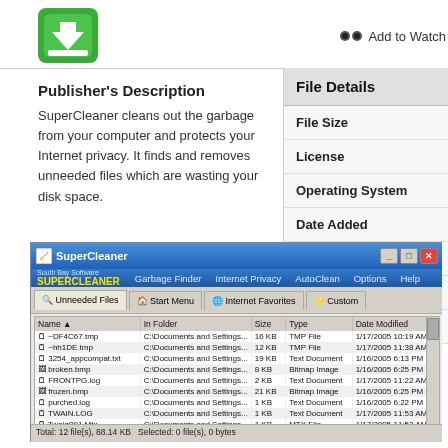[Figure (logo): Green app icon with down arrow/tray symbol for SuperCleaner]
Add to Watchlist
Publisher's Description
SuperCleaner cleans out the garbage from your computer and protects your Internet privacy. It finds and removes unneeded files which are wasting your disk space.
| File Details |  |
| --- | --- |
| File Size |  |
| License |  |
| Operating System |  |
| Date Added |  |
| Total Downloads |  |
| Publisher |  |
| Homepage |  |
[Figure (screenshot): Screenshot of SuperCleaner application window showing unneeded files list with file names, locations, sizes, types, and dates modified. Titlebar shows SuperCleaner with menu: Garbage Finder, Internet Privacy, AutoClean, Options, Help. Files listed include ~DF4C67.tmp, ~hh1DE.tmp, 3254_appcompat.txt, broken.bmp, FRONTPG.log, frozen.bmp, purched.log, TWAIN.LOG, Twain001.Mtx. Status bar: Total: 12 file(s), 88.14 KB; Selected: 0 file(s), 0 bytes]